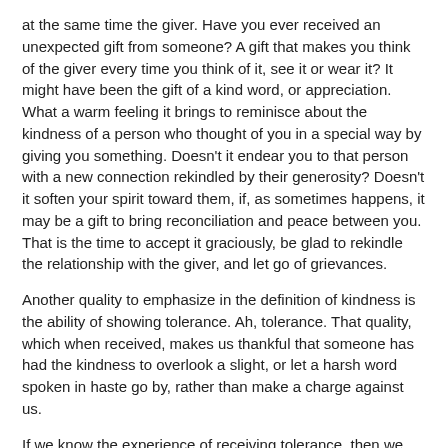at the same time the giver. Have you ever received an unexpected gift from someone? A gift that makes you think of the giver every time you think of it, see it or wear it? It might have been the gift of a kind word, or appreciation. What a warm feeling it brings to reminisce about the kindness of a person who thought of you in a special way by giving you something. Doesn't it endear you to that person with a new connection rekindled by their generosity? Doesn't it soften your spirit toward them, if, as sometimes happens, it may be a gift to bring reconciliation and peace between you. That is the time to accept it graciously, be glad to rekindle the relationship with the giver, and let go of grievances.
Another quality to emphasize in the definition of kindness is the ability of showing tolerance. Ah, tolerance. That quality, which when received, makes us thankful that someone has had the kindness to overlook a slight, or let a harsh word spoken in haste go by, rather than make a charge against us.
If we know the experience of receiving tolerance, then we should offer that gift to others as well. And the greatest expression of tolerance for us all was shown through Jesus Christ in the gift of His life for us. “He laid down His life for us, we also ought to lay down our lives for the brethren” (1 John 3:16-18). And when we have the chance to give it to someone who may